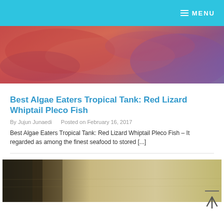MENU
[Figure (photo): Close-up photo of a fish with reddish-orange and purple hues, likely a Red Lizard Whiptail Pleco Fish]
Best Algae Eaters Tropical Tank: Red Lizard Whiptail Pleco Fish
By Jujun Junaedi   Posted on February 16, 2017
Best Algae Eaters Tropical Tank: Red Lizard Whiptail Pleco Fish – It regarded as among the finest seafood to stored [...]
[Figure (photo): Photo of a fish tank or fish, with beige/tan and dark tones, partially visible]